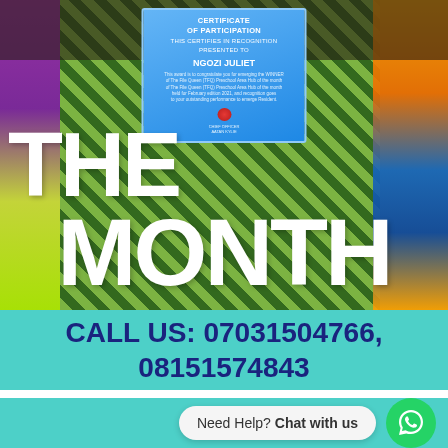[Figure (photo): Photo of people holding a Certificate of Participation for NGOZI JULIET, wearing colorful African print fabric clothing. Large white text overlay reads 'THE MONTH' across the image.]
THE MONTH
CALL US: 07031504766, 08151574843
Need Help? Chat with us